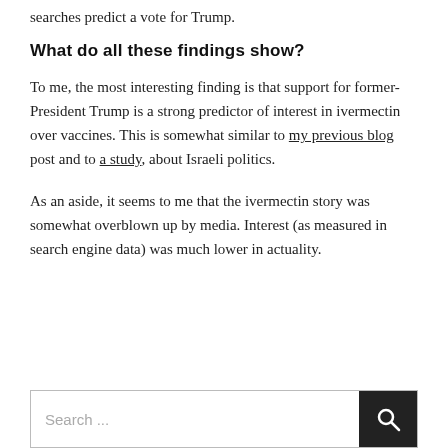searches predict a vote for Trump.
What do all these findings show?
To me, the most interesting finding is that support for former-President Trump is a strong predictor of interest in ivermectin over vaccines. This is somewhat similar to my previous blog post and to a study, about Israeli politics.
As an aside, it seems to me that the ivermectin story was somewhat overblown up by media. Interest (as measured in search engine data) was much lower in actuality.
Search ...